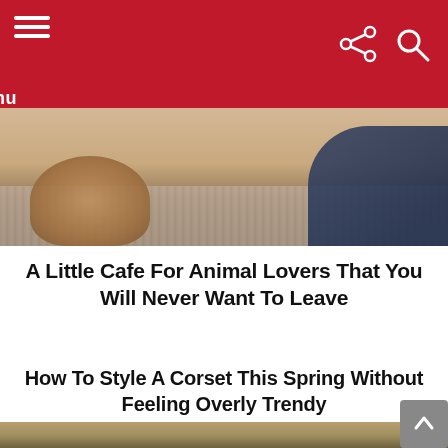Menu
[Figure (photo): A dog lying on a carpet with a person nearby, partial view of animal cafe interior]
A Little Cafe For Animal Lovers That You Will Never Want To Leave
How To Style A Corset This Spring Without Feeling Overly Trendy
[Figure (photo): Partial photo of a person, beginning of second article image]